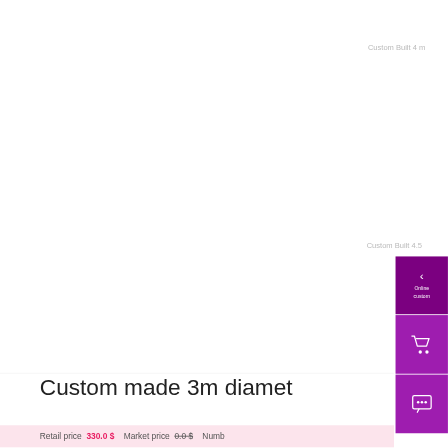Custom Built 4 m...
Custom Built 4.5...
[Figure (screenshot): White product image area showing a custom-built product page screenshot with purple sidebar navigation buttons (back arrow with Online custom label, shopping cart icon, and chat icon)]
Custom made 3m diamet...
Retail price  330.0 $   Market price  0.0 $   Numb...